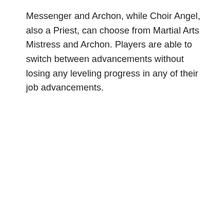Messenger and Archon, while Choir Angel, also a Priest, can choose from Martial Arts Mistress and Archon. Players are able to switch between advancements without losing any leveling progress in any of their job advancements.